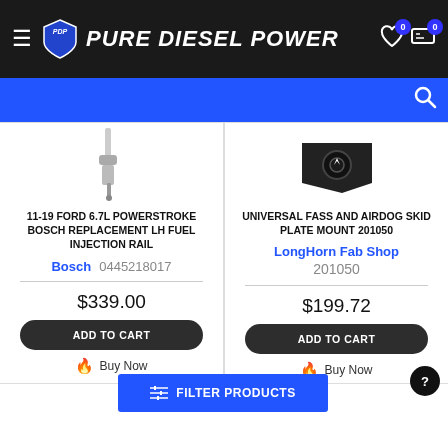Pure Diesel Power
[Figure (screenshot): Blue search bar with magnifying glass icon]
[Figure (photo): Bosch fuel injection rail component]
11-19 FORD 6.7L POWERSTROKE BOSCH REPLACEMENT LH FUEL INJECTION RAIL
Bosch  0445218017
$339.00
ADD TO CART
Buy Now
[Figure (photo): Universal FASS and AirDog skid plate mount, black metal bracket]
UNIVERSAL FASS AND AIRDOG SKID PLATE MOUNT 201050
LongHorn Fab Shop  201050
$199.72
ADD TO CART
Buy Now
FILTER PRODUCTS